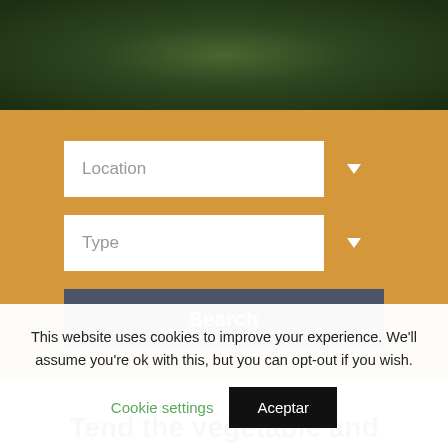[Figure (photo): Dark green blurred foliage/nature photo used as page header background]
[Figure (screenshot): Golden/amber search panel with Location dropdown, Type dropdown, and Search button on a restaurant/venue search website]
Tend the vegetable and
This website uses cookies to improve your experience. We'll assume you're ok with this, but you can opt-out if you wish.
Cookie settings
Aceptar